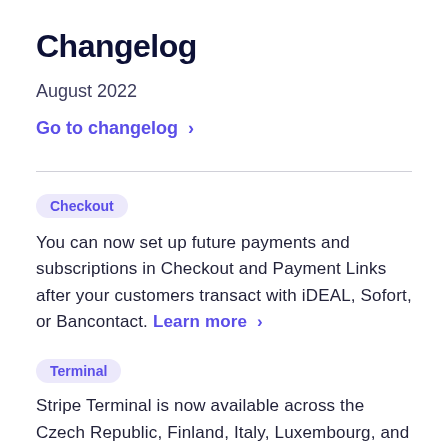Changelog
August 2022
Go to changelog >
Checkout
You can now set up future payments and subscriptions in Checkout and Payment Links after your customers transact with iDEAL, Sofort, or Bancontact. Learn more >
Terminal
Stripe Terminal is now available across the Czech Republic, Finland, Italy, Luxembourg, and Portugal. Integrate in-person payments with